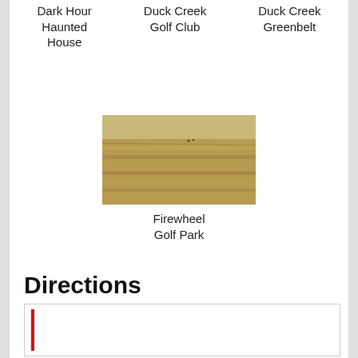Dark Hour Haunted House
Duck Creek Golf Club
Duck Creek Greenbelt
[Figure (photo): A photo of a grassy field (Firewheel Golf Park)]
Firewheel Golf Park
Directions
[Figure (other): A directions box with a red vertical bar on the left]